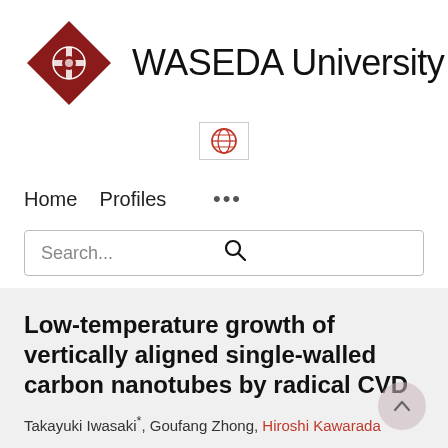[Figure (logo): Waseda University logo: red diamond shape with emblem and text 'WASEDA University']
[Figure (other): Globe/language selector icon in a bordered box]
Home   Profiles   ...
Search...
Low-temperature growth of vertically aligned single-walled carbon nanotubes by radical CVD
Takayuki Iwasaki*, Goufang Zhong, Hiroshi Kawarada